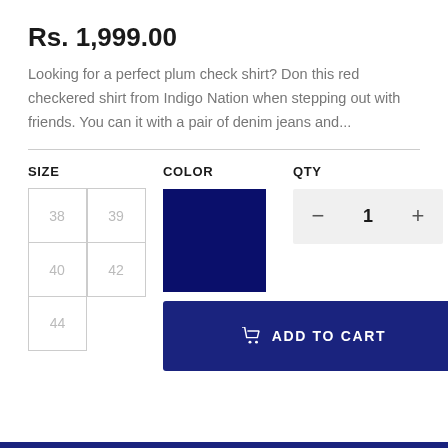Rs. 1,999.00
Looking for a perfect plum check shirt? Don this red checkered shirt from Indigo Nation when stepping out with friends. You can it with a pair of denim jeans and...
SIZE
COLOR
QTY
[Figure (illustration): Dark navy blue color swatch square]
38   39   40   42   44
− 1 +
ADD TO CART